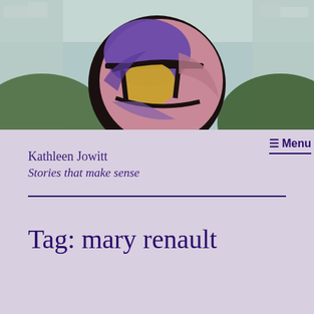[Figure (photo): Close-up photo of a stained glass window with circular design featuring purple/violet, yellow/amber, and pink/mauve colored glass sections, with dark leading between segments, and green glass and clear textured glass visible around the circle.]
Kathleen Jowitt
Stories that make sense
≡ Menu
Tag: mary renault